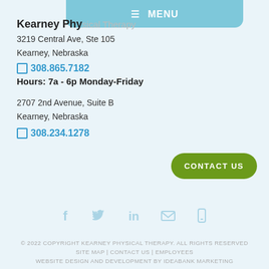≡ MENU
Kearney Physical Therapy
3219 Central Ave, Ste 105
Kearney, Nebraska
☐ 308.865.7182
Hours: 7a - 6p Monday-Friday
2707 2nd Avenue, Suite B
Kearney, Nebraska
☐ 308.234.1278
[Figure (other): CONTACT US button (green rounded rectangle)]
[Figure (other): Social media icons row: Facebook, Twitter, LinkedIn, Email, Mobile]
© 2022 COPYRIGHT KEARNEY PHYSICAL THERAPY. ALL RIGHTS RESERVED SITE MAP | CONTACT US | EMPLOYEES WEBSITE DESIGN AND DEVELOPMENT BY IDEABANK MARKETING